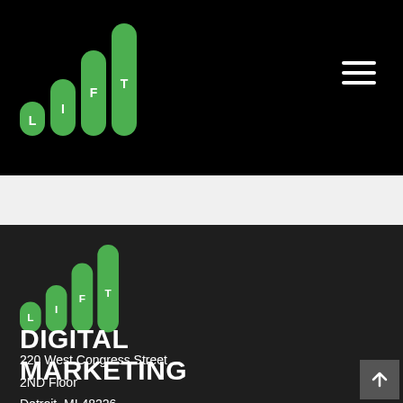[Figure (logo): LIFT Digital Marketing logo in header — four green pill/bar shapes ascending in height with letters L, I, F, T inside, on black background]
[Figure (logo): LIFT Digital Marketing logo in footer — four green pill/bar shapes ascending in height with letters L, I, F, T inside, on dark background]
DIGITAL MARKETING
220 West Congress Street
2ND Floor
Detroit, MI 48226